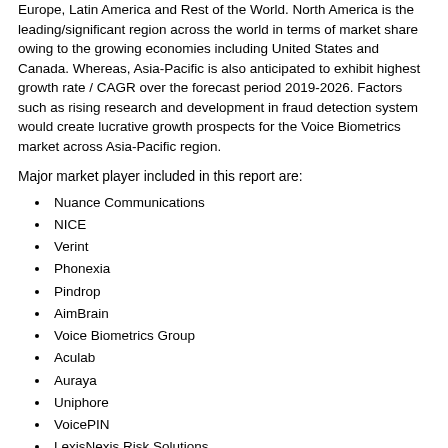Europe, Latin America and Rest of the World. North America is the leading/significant region across the world in terms of market share owing to the growing economies including United States and Canada. Whereas, Asia-Pacific is also anticipated to exhibit highest growth rate / CAGR over the forecast period 2019-2026. Factors such as rising research and development in fraud detection system would create lucrative growth prospects for the Voice Biometrics market across Asia-Pacific region.
Major market player included in this report are:
Nuance Communications
NICE
Verint
Phonexia
Pindrop
AimBrain
Voice Biometrics Group
Aculab
Auraya
Uniphore
VoicePIN
LexisNexis Risk Solutions